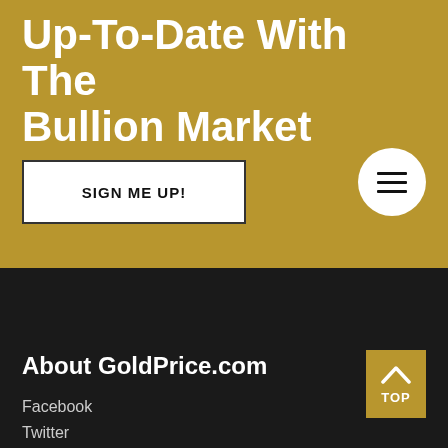Up-To-Date With The Bullion Market
SIGN ME UP!
[Figure (infographic): Hamburger menu icon in a white circle on gold background]
About GoldPrice.com
[Figure (infographic): TOP arrow button in gold square]
Facebook
Twitter